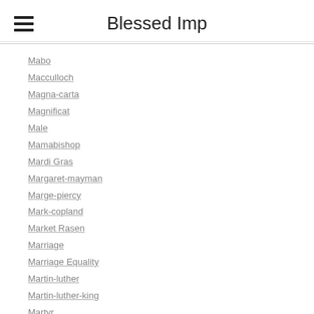Blessed Imp
Mabo
Macculloch
Magna-carta
Magnificat
Male
Mamabishop
Mardi Gras
Margaret-mayman
Marge-piercy
Mark-copland
Market Rasen
Marriage
Marriage Equality
Martin-luther
Martin-luther-king
Martyr
Mary
Mary Follett
Mary-magdalene